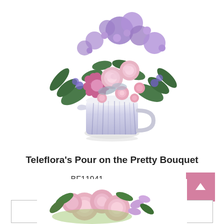[Figure (photo): Floral bouquet with pink roses, purple flowers, and green leaves in a white and blue ceramic pitcher vase, on white background.]
Teleflora's Pour on the Pretty Bouquet
BF11941
from $104.00 USD
Order Now
[Figure (photo): Partial view of a pink floral bouquet at the bottom of the page.]